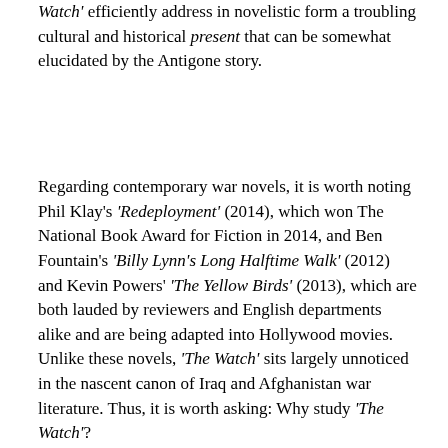Watch' efficiently address in novelistic form a troubling cultural and historical present that can be somewhat elucidated by the Antigone story.
Regarding contemporary war novels, it is worth noting Phil Klay's 'Redeployment' (2014), which won The National Book Award for Fiction in 2014, and Ben Fountain's 'Billy Lynn's Long Halftime Walk' (2012) and Kevin Powers' 'The Yellow Birds' (2013), which are both lauded by reviewers and English departments alike and are being adapted into Hollywood movies. Unlike these novels, 'The Watch' sits largely unnoticed in the nascent canon of Iraq and Afghanistan war literature. Thus, it is worth asking: Why study 'The Watch'?